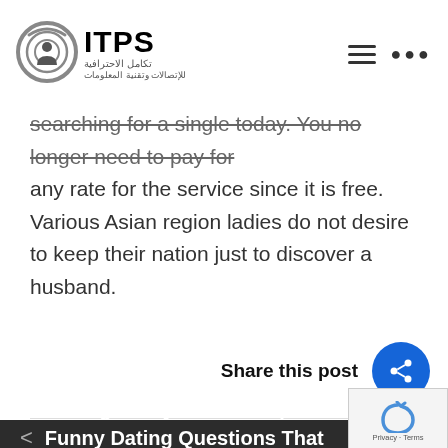[Figure (logo): ITPS logo with Arabic text for integrated professional telecommunications and information technology]
searching for a single today. You no longer need to pay for any rate for the service since it is free. Various Asian region ladies do not desire to keep their nation just to discover a husband.
Share this post
The right way to Come Up With Funny Dating Questions That Will Make Her Laugh